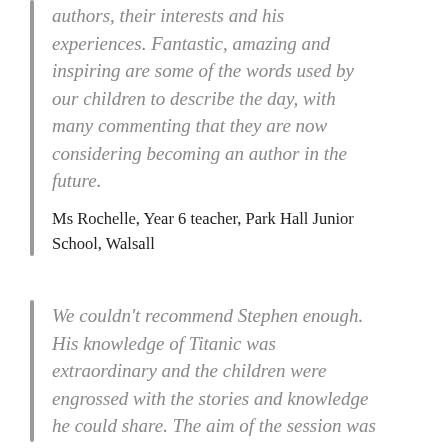authors, their interests and his experiences. Fantastic, amazing and inspiring are some of the words used by our children to describe the day, with many commenting that they are now considering becoming an author in the future.
Ms Rochelle, Year 6 teacher, Park Hall Junior School, Walsall
We couldn't recommend Stephen enough. His knowledge of Titanic was extraordinary and the children were engrossed with the stories and knowledge he could share. The aim of the session was